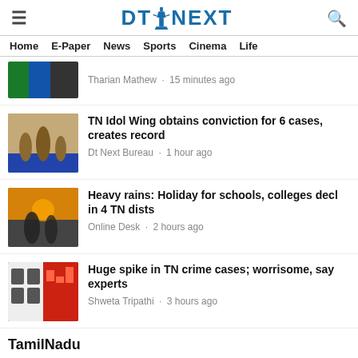DT NEXT
Home · E-Paper · News · Sports · Cinema · Life
Tharian Mathew · 15 minutes ago
TN Idol Wing obtains conviction for 6 cases, creates record
Dt Next Bureau · 1 hour ago
Heavy rains: Holiday for schools, colleges decl in 4 TN dists
Online Desk · 2 hours ago
Huge spike in TN crime cases; worrisome, say experts
Shweta Tripathi · 3 hours ago
TamilNadu